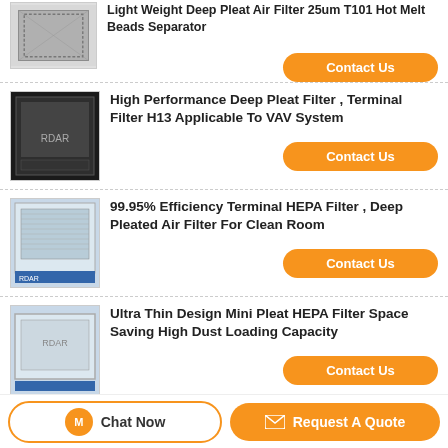Light Weight Deep Pleat Air Filter 25um T101 Hot Melt Beads Separator
High Performance Deep Pleat Filter , Terminal Filter H13 Applicable To VAV System
99.95% Efficiency Terminal HEPA Filter , Deep Pleated Air Filter For Clean Room
Ultra Thin Design Mini Pleat HEPA Filter Space Saving High Dust Loading Capacity
Low Resistance Terminal HEPA Filter H14 99.995% Efficiency Separator
Chat Now
Request A Quote